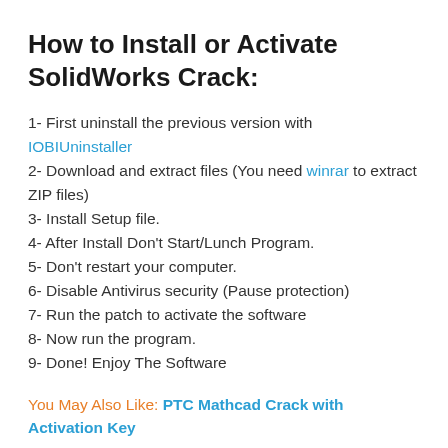How to Install or Activate SolidWorks Crack:
1- First uninstall the previous version with IOBIUninstaller
2- Download and extract files (You need winrar to extract ZIP files)
3- Install Setup file.
4- After Install Don't Start/Lunch Program.
5- Don't restart your computer.
6- Disable Antivirus security (Pause protection)
7- Run the patch to activate the software
8- Now run the program.
9- Done! Enjoy The Software
You May Also Like: PTC Mathcad Crack with Activation Key